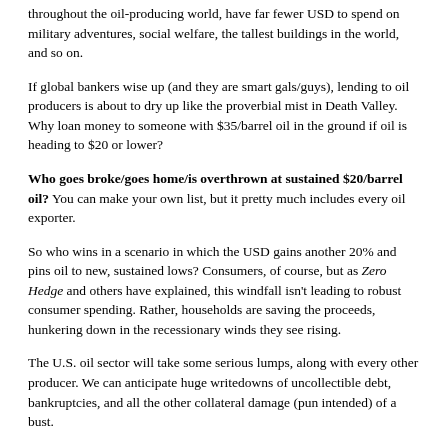throughout the oil-producing world, have far fewer USD to spend on military adventures, social welfare, the tallest buildings in the world, and so on.
If global bankers wise up (and they are smart gals/guys), lending to oil producers is about to dry up like the proverbial mist in Death Valley. Why loan money to someone with $35/barrel oil in the ground if oil is heading to $20 or lower?
Who goes broke/goes home/is overthrown at sustained $20/barrel oil? You can make your own list, but it pretty much includes every oil exporter.
So who wins in a scenario in which the USD gains another 20% and pins oil to new, sustained lows? Consumers, of course, but as Zero Hedge and others have explained, this windfall isn't leading to robust consumer spending. Rather, households are saving the proceeds, hunkering down in the recessionary winds they see rising.
The U.S. oil sector will take some serious lumps, along with every other producer. We can anticipate huge writedowns of uncollectible debt, bankruptcies, and all the other collateral damage (pun intended) of a bust.
But who is left relatively unscathed in terms of financial power and hegemony? The U.S. Should the USD soar another 20%, China would be forced to devalue its currency even more steeply, and financial